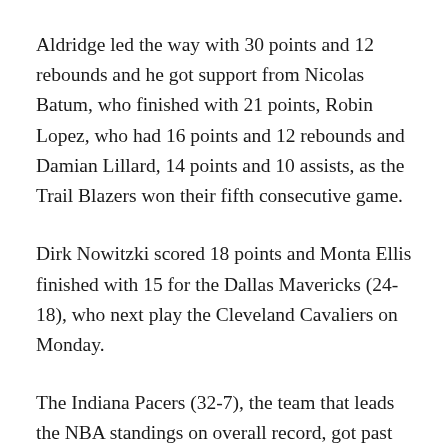Aldridge led the way with 30 points and 12 rebounds and he got support from Nicolas Batum, who finished with 21 points, Robin Lopez, who had 16 points and 12 rebounds and Damian Lillard, 14 points and 10 assists, as the Trail Blazers won their fifth consecutive game.
Dirk Nowitzki scored 18 points and Monta Ellis finished with 15 for the Dallas Mavericks (24-18), who next play the Cleveland Cavaliers on Monday.
The Indiana Pacers (32-7), the team that leads the NBA standings on overall record, got past the Los